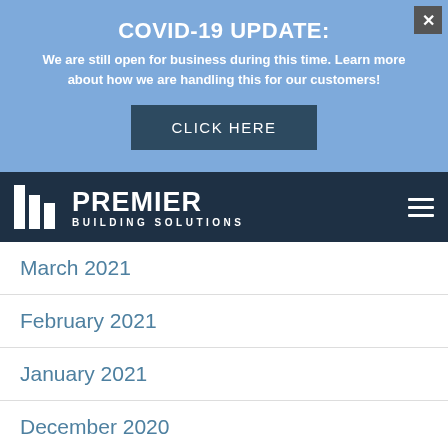COVID-19 UPDATE:
We are still open for business during this time. Learn more about how we are handling this for our customers!
[Figure (screenshot): CLICK HERE button in dark blue]
[Figure (logo): Premier Building Solutions logo with white vertical bars and white text on dark navy background]
March 2021
February 2021
January 2021
December 2020
November 2020